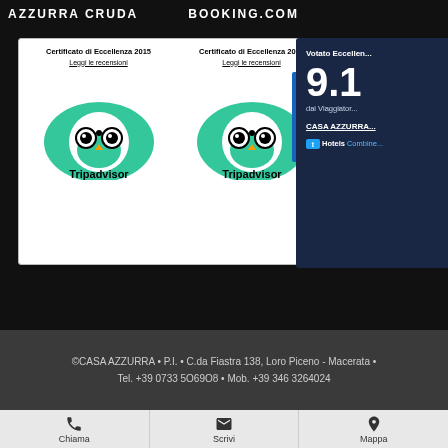AZZURRA CRUDA   BOOKING.COM
[Figure (screenshot): Two Tripadvisor Certificato di Eccellenza 2015 and 2016 badges with owl logos and 'Leggi le recensioni' links]
[Figure (screenshot): HotelsCombined rating card: Votato Eccellen... 9.1 dai Viaggiator... CASA AZZURRA... HotelsCombine...]
©CASA AZZURRA • P.I. • C.da Fiastra 138, Loro Piceno - Macerata • Tel. +39 0733 5O69O8 • Mob. +39 346 3264024
Chiama
Scrivi
Mappa